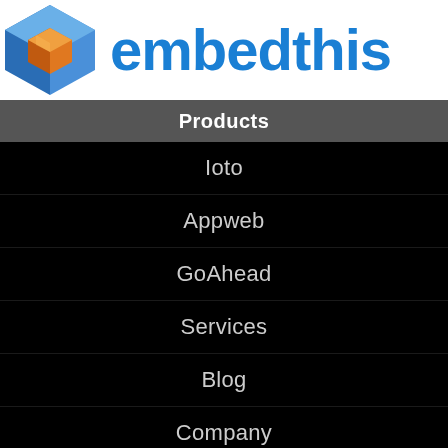[Figure (logo): Embedthis logo with blue 3D cube icon and blue 'embedthis' brand text on white background]
Products
Ioto
Appweb
GoAhead
Services
Blog
Company
Consulting Services
Open Source
Security